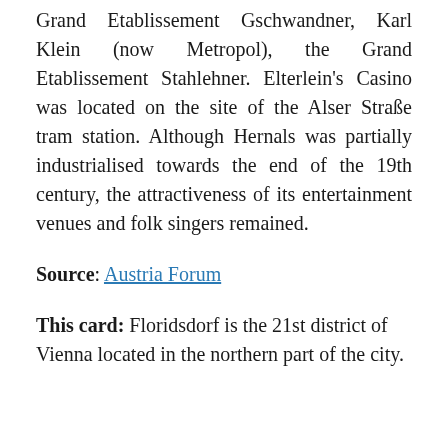Grand Etablissement Gschwandner, Karl Klein (now Metropol), the Grand Etablissement Stahlehner. Elterlein's Casino was located on the site of the Alser Straße tram station. Although Hernals was partially industrialised towards the end of the 19th century, the attractiveness of its entertainment venues and folk singers remained.
Source: Austria Forum
This card: Floridsdorf is the 21st district of Vienna located in the northern part of the city.